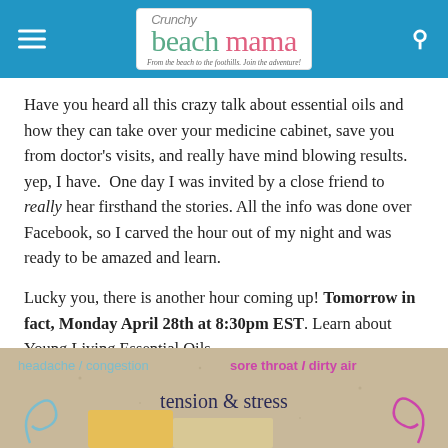Crunchy Beach Mama — From the beach to the foothills. Join the adventure!
Have you heard all this crazy talk about essential oils and how they can take over your medicine cabinet, save you from doctor's visits, and really have mind blowing results. yep, I have.  One day I was invited by a close friend to really hear firsthand the stories. All the info was done over Facebook, so I carved the hour out of my night and was ready to be amazed and learn.
Lucky you, there is another hour coming up! Tomorrow in fact, Monday April 28th at 8:30pm EST. Learn about Young Living Essential Oils.
[Figure (photo): Image showing handwritten text on a sandy background with labels: 'headache / congestion' in teal on the left, 'sore throat / dirty air' in magenta on the right, and 'tension & stress' written in blue marker in the center, with decorative swirl shapes and a yellow element.]